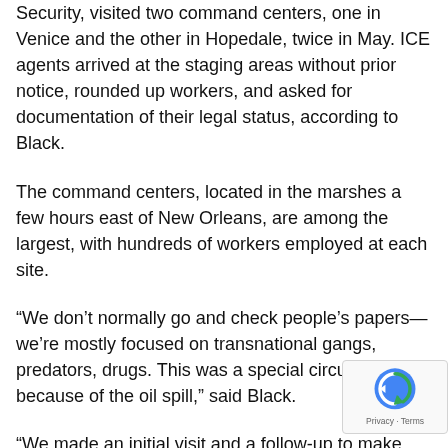Security, visited two command centers, one in Venice and the other in Hopedale, twice in May. ICE agents arrived at the staging areas without prior notice, rounded up workers, and asked for documentation of their legal status, according to Black.
The command centers, located in the marshes a few hours east of New Orleans, are among the largest, with hundreds of workers employed at each site.
“We don’t normally go and check people’s papers—we’re mostly focused on transnational gangs, predators, drugs. This was a special circumstance because of the oil spill,” said Black.
“We made an initial visit and a follow-up to make sure they were following the rules,” he said.
“These weren’t raids—they were investigations,” he added.